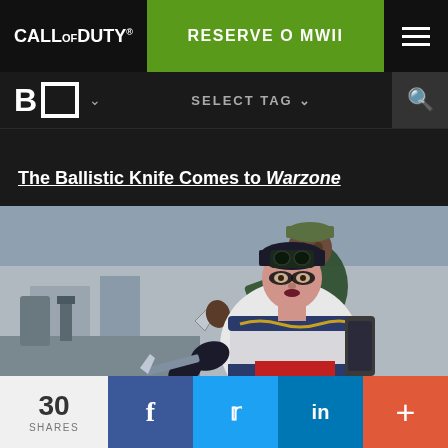CALL OF DUTY®  RESERVE O MWII
BO  SELECT TAG
The Ballistic Knife Comes to Warzone
[Figure (photo): Two Call of Duty video game characters in combat gear. In the foreground, a female character with dramatic dark eye makeup, wearing a black cap and ornate armor, holds a ballistic knife. In the background, a male character in casual military gear.]
30 SHARES  f  t  in  +